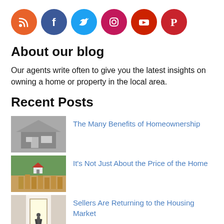[Figure (infographic): Row of 6 colored social media icon circles: RSS (orange), Facebook (dark blue), Twitter (light blue), Instagram (pink/magenta), YouTube (red), Pinterest (red)]
About our blog
Our agents write often to give you the latest insights on owning a home or property in the local area.
Recent Posts
[Figure (photo): Black and white photo of a suburban house]
The Many Benefits of Homeownership
[Figure (photo): Color photo of a small house model on stacked coins with dominos]
It's Not Just About the Price of the Home
[Figure (photo): Photo of a person standing in a bright doorway]
Sellers Are Returning to the Housing Market